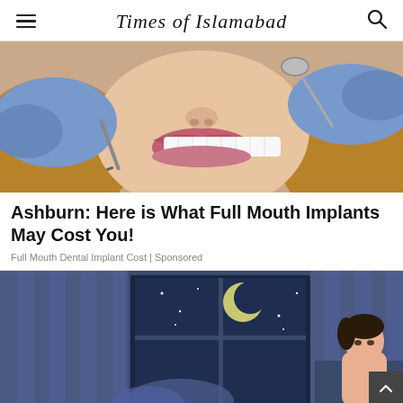Times of Islamabad
[Figure (photo): Close-up of a woman smiling with white teeth while a dentist in blue gloves holds dental instruments near her mouth]
Ashburn: Here is What Full Mouth Implants May Cost You!
Full Mouth Dental Implant Cost | Sponsored
[Figure (illustration): Illustration of a person sitting up in bed at night, looking out a window with a crescent moon and stars visible outside, in blue tones]